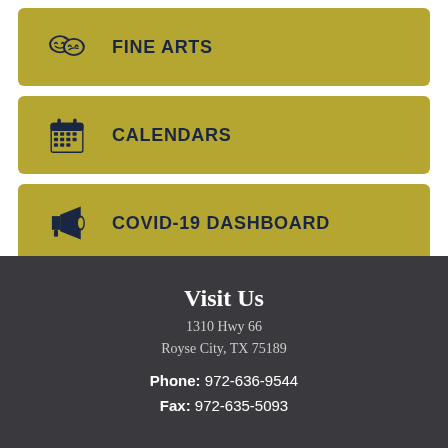FINE ARTS
CALENDARS
COVID-19 DASHBOARD
Visit Us
1310 Hwy 66
Royse City, TX 75189
Phone: 972-636-9544
Fax: 972-635-5093